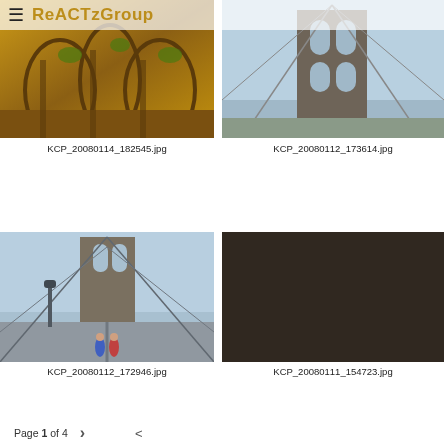≡ ReACTzGroup
[Figure (photo): Close-up of ornate golden architectural details, arches and decorative elements]
KCP_20080114_182545.jpg
[Figure (photo): Brooklyn Bridge gothic stone tower seen from below, with cables and arch]
KCP_20080112_173614.jpg
[Figure (photo): Brooklyn Bridge walkway with pedestrians walking across, cables and towers visible]
KCP_20080112_172946.jpg
[Figure (photo): Grid collage of many portrait photos of different people]
KCP_20080111_154723.jpg
Page 1 of 4  >  <